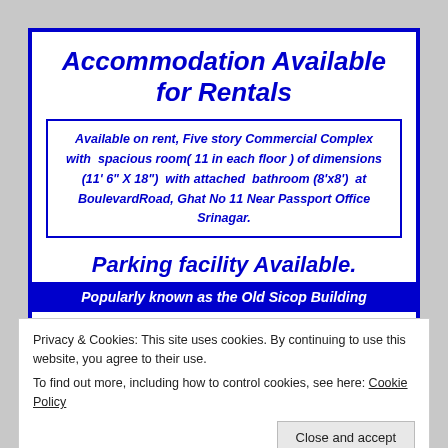Accommodation Available for Rentals
Available on rent, Five story Commercial Complex with spacious room( 11 in each floor ) of dimensions (11' 6" X 18") with attached bathroom (8'x8') at BoulevardRoad, Ghat No 11 Near Passport Office Srinagar.
Parking facility Available.
Popularly known as the Old Sicop Building
Useful for Banks , Govt and Semi GovtEstablishments, Corporations or any MNC's. HOTEL/Guest House
Privacy & Cookies: This site uses cookies. By continuing to use this website, you agree to their use.
To find out more, including how to control cookies, see here: Cookie Policy
Close and accept